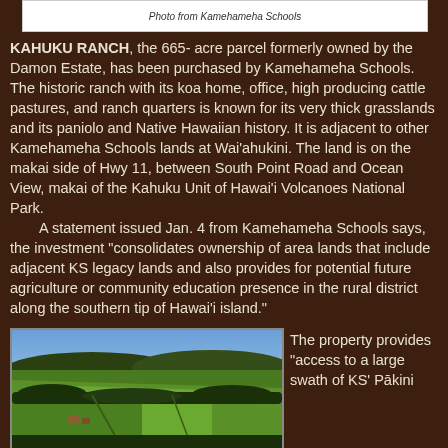Photo from Kamehameha Schools
KAHUKU RANCH, the 665- acre parcel formerly owned by the Damon Estate, has been purchased by Kamehameha Schools. The historic ranch with its koa home, office, high producing cattle pastures, and ranch quarters is known for its very thick grasslands and its paniolo and Native Hawaiian history. It is adjacent to other Kamehameha Schools lands at Wai'ahukini. The land is on the makai side of Hwy 11, between South Point Road and Ocean View, makai of the Kahuku Unit of Hawai'i Volcanoes National Park.
A statement issued Jan. 4 from Kamehameha Schools says, the investment "consolidates ownership of area lands that include adjacent KS legacy lands and also provides for potential future agriculture or community education presence in the rural district along the southern tip of Hawai'i island."
[Figure (photo): Aerial photograph of Kahuku Ranch showing green pastures and fields from above]
The property provides "access to a large swath of KS' Pākini